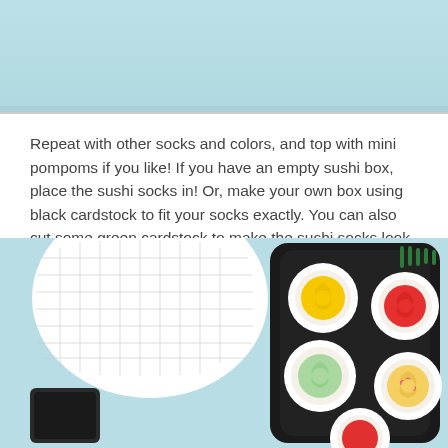[Figure (photo): Top portion of a photo showing a light blue/teal background, cropped at the bottom edge]
Repeat with other socks and colors, and top with mini pompoms if you like! If you have an empty sushi box, place the sushi socks in! Or, make your own box using black cardstock to fit your socks exactly. You can also cut some green cardstock to make the sushi socks look even more realistic!
[Figure (photo): Photo showing sushi-roll style sock arrangements in a black tray/box on a light blue background, with a white grid plate and small dark dipping sauce dish. The socks are rolled to look like sushi with colourful centres (yellow, red, light green).]